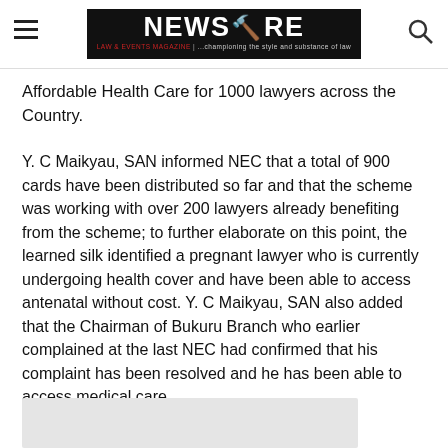NEWSWIRE LAW & EVENTS MAGAZINE | ...championing the style and substance of law
Affordable Health Care for 1000 lawyers across the Country.
Y. C Maikyau, SAN informed NEC that a total of 900 cards have been distributed so far and that the scheme was working with over 200 lawyers already benefiting from the scheme; to further elaborate on this point, the learned silk identified a pregnant lawyer who is currently undergoing health cover and have been able to access antenatal without cost. Y. C Maikyau, SAN also added that the Chairman of Bukuru Branch who earlier complained at the last NEC had confirmed that his complaint has been resolved and he has been able to access medical care.
[Figure (photo): Partial image visible at bottom of page, light gray background preview]